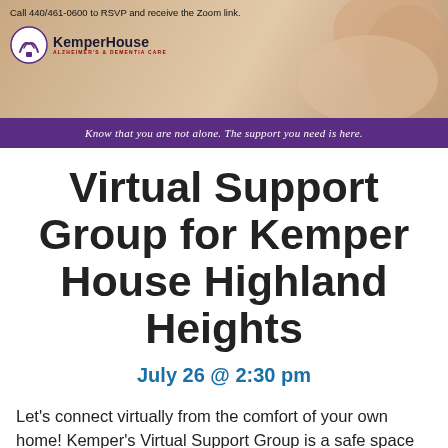[Figure (photo): KemperHouse banner with photo of hands and logo, including RSVP call to action text and purple tagline bar]
Virtual Support Group for Kemper House Highland Heights
July 26 @ 2:30 pm
Let's connect virtually from the comfort of your own home! Kemper's Virtual Support Group is a safe space to share your feelings, ask questions, and gain knowledge about Alzheimer's disease or a